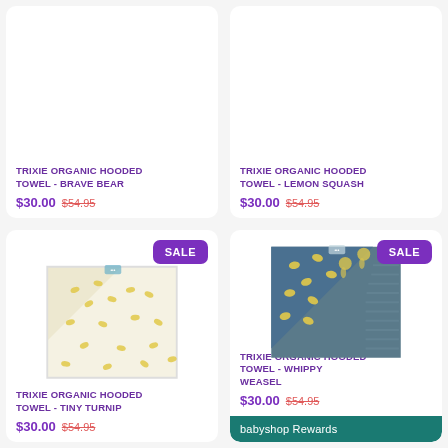TRIXIE ORGANIC HOODED TOWEL - BRAVE BEAR
$30.00  $54.95
TRIXIE ORGANIC HOODED TOWEL - LEMON SQUASH
$30.00  $54.95
[Figure (photo): White hooded towel with yellow lemon pattern, folded flat with hood visible at top corner. SALE badge in purple.]
TRIXIE ORGANIC HOODED TOWEL - TINY TURNIP
$30.00  $54.95
[Figure (photo): Dark blue-grey hooded towel with yellow elephant/animal pattern, folded with hood at top corner. SALE badge in purple.]
TRIXIE ORGANIC HOODED TOWEL - WHIPPY WEASEL
$30.00  $54.95
babyshop Rewards